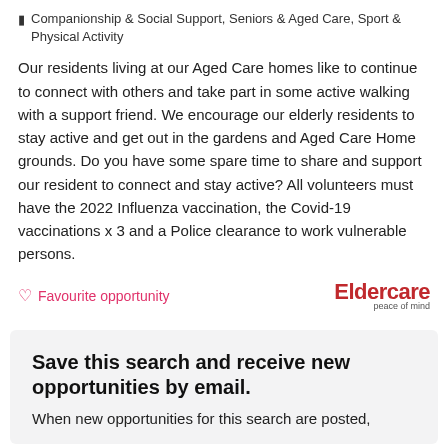Companionship & Social Support, Seniors & Aged Care, Sport & Physical Activity
Our residents living at our Aged Care homes like to continue to connect with others and take part in some active walking with a support friend. We encourage our elderly residents to stay active and get out in the gardens and Aged Care Home grounds. Do you have some spare time to share and support our resident to connect and stay active? All volunteers must have the 2022 Influenza vaccination, the Covid-19 vaccinations x 3 and a Police clearance to work vulnerable persons.
Favourite opportunity
[Figure (logo): Eldercare logo with tagline 'peace of mind']
Save this search and receive new opportunities by email.
When new opportunities for this search are posted,